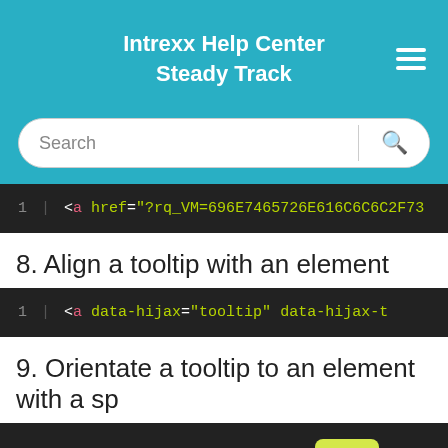Intrexx Help Center
Steady Track
[Figure (screenshot): Search bar with text 'Search' and a magnifying glass icon button]
[Figure (screenshot): Code block line 1: <a href="?rq_VM=696E7465726E616C6C2F73...]
8. Align a tooltip with an element
[Figure (screenshot): Code block line 1: <a data-hijax="tooltip" data-hijax-t...]
9. Orientate a tooltip to an element with a sp...
[Figure (screenshot): Code block line 1: <a data-hijax="tooltip" dat...x-t with Top button overlay]